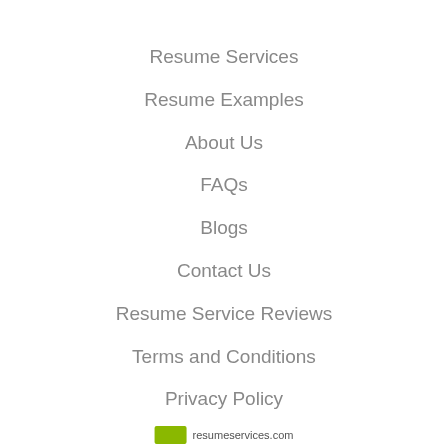Resume Services
Resume Examples
About Us
FAQs
Blogs
Contact Us
Resume Service Reviews
Terms and Conditions
Privacy Policy
resumeservices.com